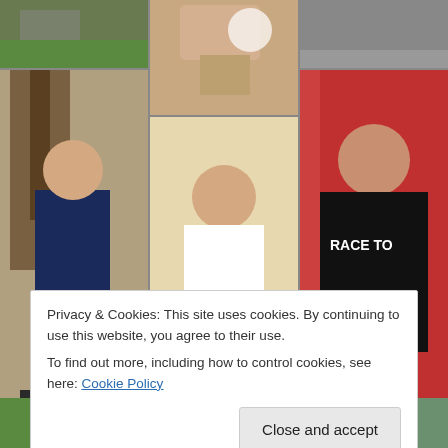[Figure (photo): Collage of children photos arranged in a grid, partially obscured by a cookie consent banner overlay]
Privacy & Cookies: This site uses cookies. By continuing to use this website, you agree to their use.
To find out more, including how to control cookies, see here: Cookie Policy
Close and accept